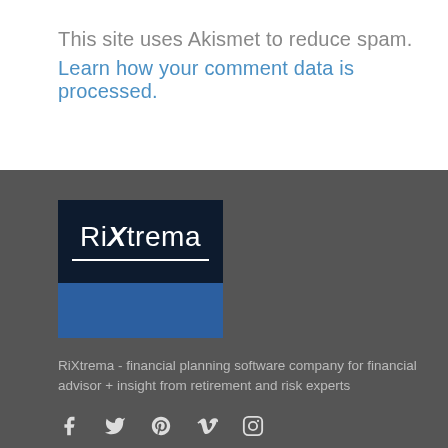This site uses Akismet to reduce spam.
Learn how your comment data is processed.
[Figure (logo): RiXtrema logo — dark navy top half with 'RiXtrema' text in white with underline, blue bottom half]
RiXtrema - financial planning software company for financial advisor + insight from retirement and risk experts
Social media icons: Facebook, Twitter, Pinterest, Vimeo, Instagram